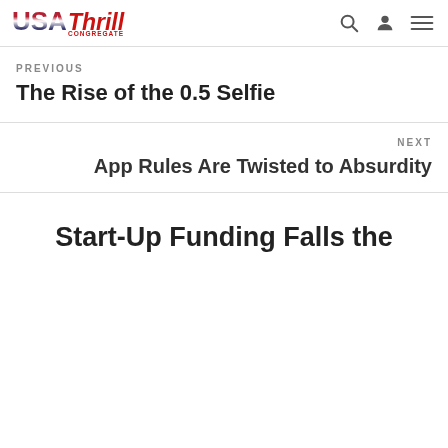USA Thrill Congregate
PREVIOUS
The Rise of the 0.5 Selfie
NEXT
App Rules Are Twisted to Absurdity
Start-Up Funding Falls the